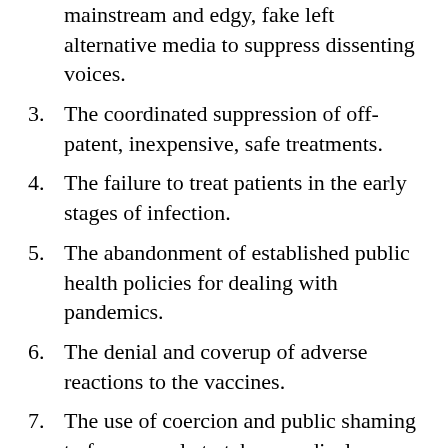mainstream and edgy, fake left alternative media to suppress dissenting voices.
3. The coordinated suppression of off-patent, inexpensive, safe treatments.
4. The failure to treat patients in the early stages of infection.
5. The abandonment of established public health policies for dealing with pandemics.
6. The denial and coverup of adverse reactions to the vaccines.
7. The use of coercion and public shaming to force people to take a medical treatment. Contrary to what has been stated in numerous smarmy editorials, the vaccines are in an experimental stage, and enforced medical